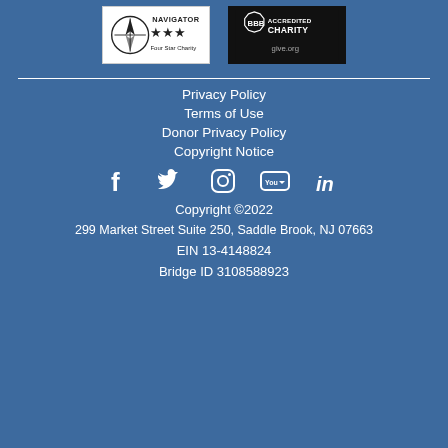[Figure (logo): Charity Navigator four star badge and BBB Accredited Charity badge with give.org]
Privacy Policy
Terms of Use
Donor Privacy Policy
Copyright Notice
[Figure (other): Social media icons: Facebook, Twitter, Instagram, YouTube, LinkedIn]
Copyright ©2022
299 Market Street Suite 250, Saddle Brook, NJ 07663
EIN 13-4148824
Bridge ID 3108588923